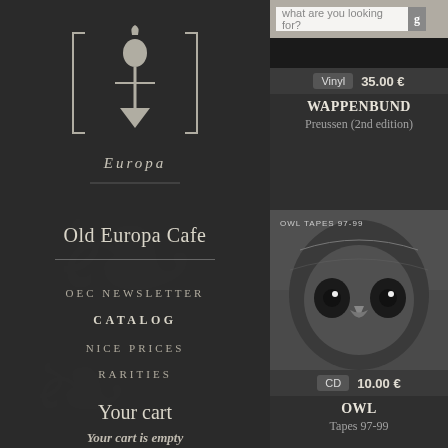[Figure (logo): Old Europa Cafe stylized logo with candle/figure imagery and text 'Europa' at bottom]
Old Europa Cafe
OEC NEWSLETTER
CATALOG
NICE PRICES
RARITIES
Your cart
Your cart is empty
what are you looking for?
Vinyl  35.00 €
WAPPENBUND
Preussen (2nd edition)
[Figure (photo): Black and white close-up photo of an owl face with large eyes, album cover for OWL Tapes 97-99]
CD  10.00 €
OWL
Tapes 97-99